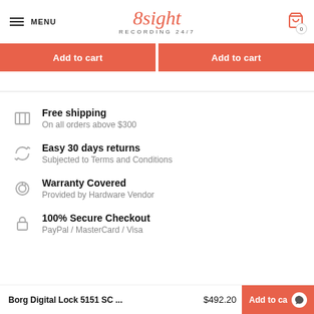MENU | 8sight RECORDING 24/7 | Cart 0
Add to cart | Add to cart
Free shipping
On all orders above $300
Easy 30 days returns
Subjected to Terms and Conditions
Warranty Covered
Provided by Hardware Vendor
100% Secure Checkout
PayPal / MasterCard / Visa
Borg Digital Lock 5151 SC ... $492.20 Add to ca